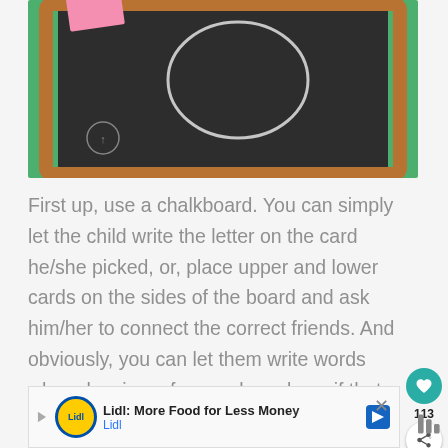[Figure (photo): A chalkboard with a wooden frame on a green background, with a chalk circle drawn on it and a pink card at the top left corner.]
First up, use a chalkboard. You can simply let the child write the letter on the card he/she picked, or, place upper and lower cards on the sides of the board and ask him/her to connect the correct friends. And obviously, you can let them write words when drawing a few cards and see if that makes a real word.
[Figure (screenshot): Advertisement bar: Lidl: More Food for Less Money - Lidl]